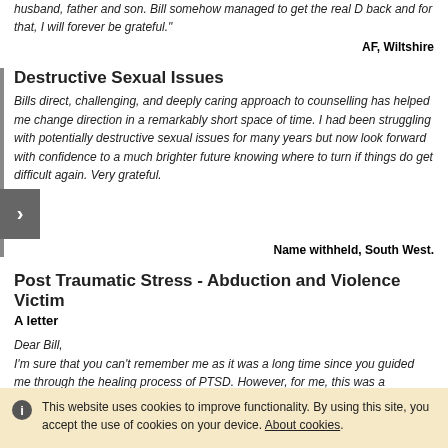husband, father and son. Bill somehow managed to get the real D back and for that, I will forever be grateful."
AF, Wiltshire
Destructive Sexual Issues
Bills direct, challenging, and deeply caring approach to counselling has helped me change direction in a remarkably short space of time. I had been struggling with potentially destructive sexual issues for many years but now look forward with confidence to a much brighter future knowing where to turn if things do get difficult again. Very grateful.
Name withheld, South West.
Post Traumatic Stress - Abduction and Violence Victim
A letter
Dear Bill,
I'm sure that you can't remember me as it was a long time since you guided me through the healing process of PTSD. However, for me, this was a deliberate delay! It was a test for me that I really could feel good, that I could move on and
This website uses cookies to improve functionality. By using this site, you accept the use of cookies on your device. About cookies.